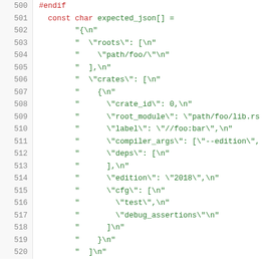[Figure (screenshot): Source code listing (lines 500-520) showing C++ code defining a const char array named expected_json with JSON string content. Line numbers shown in gray on left, code in green/red on dark background.]